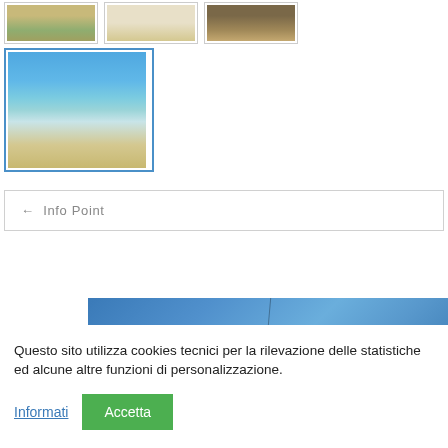[Figure (photo): Three small landscape photo thumbnails in a row showing sandy dunes, white sand, and dark sand/vegetation]
[Figure (photo): Large selected thumbnail showing a beach scene with blue sky, turquoise water, and sandy shore, highlighted with blue border]
← Info Point
[Figure (photo): Blue sky banner image with a thin diagonal dark line]
Questo sito utilizza cookies tecnici per la rilevazione delle statistiche ed alcune altre funzioni di personalizzazione.
Informati
Accetta